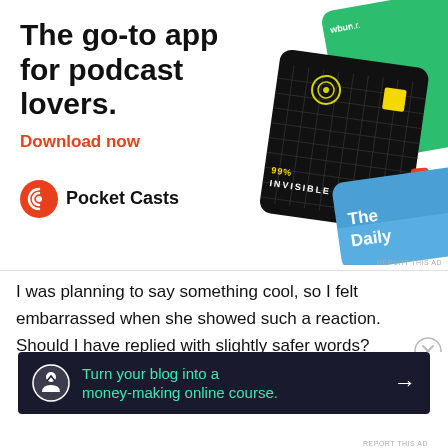[Figure (infographic): Pocket Casts podcast app advertisement showing app icon cards including '99% Invisible', 'The Daily', and 'On...' (WBUR), with headline 'The go-to app for podcast lovers.', 'Download now' in red, and Pocket Casts logo.]
I was planning to say something cool, so I felt embarrassed when she showed such a reaction. Should I have replied with slightly safer words?
Advertisements
[Figure (infographic): Dark advertisement banner: 'Turn your blog into a money-making online course.' with an icon and arrow.]